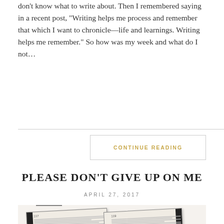don't know what to write about. Then I remembered saying in a recent post, “Writing helps me process and remember that which I want to chronicle—life and learnings. Writing helps me remember.” So how was my week and what do I not…
CONTINUE READING
PLEASE DON’T GIVE UP ON ME
APRIL 27, 2017
[Figure (photo): Open Bible showing Psalms pages 117-119, with an open pink journal and green and black pens resting on top]